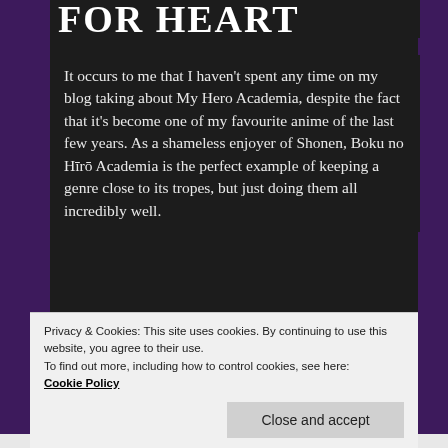FOR HEART
It occurs to me that I haven't spent any time on my blog taking about My Hero Academia, despite the fact that it's become one of my favourite anime of the last few years. As a shameless enjoyer of Shonen, Boku no Hīrō Academia is the perfect example of keeping a genre close to its tropes, but just doing them all incredibly well.
[Figure (illustration): Anime character with blonde hair and colorful energy rays on blue background, partially visible at bottom of page]
Privacy & Cookies: This site uses cookies. By continuing to use this website, you agree to their use.
To find out more, including how to control cookies, see here:
Cookie Policy
Close and accept